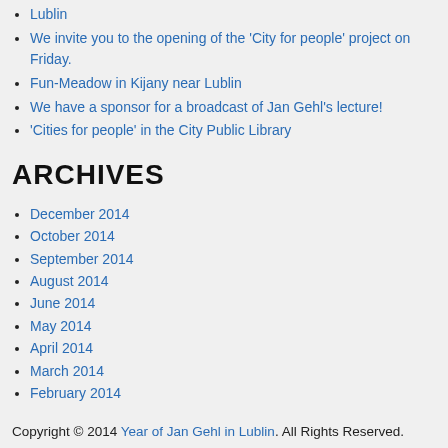We invite you to the opening of the 'City for people' project on Friday.
Fun-Meadow in Kijany near Lublin
We have a sponsor for a broadcast of Jan Gehl's lecture!
'Cities for people' in the City Public Library
ARCHIVES
December 2014
October 2014
September 2014
August 2014
June 2014
May 2014
April 2014
March 2014
February 2014
Copyright © 2014 Year of Jan Gehl in Lublin. All Rights Reserved.